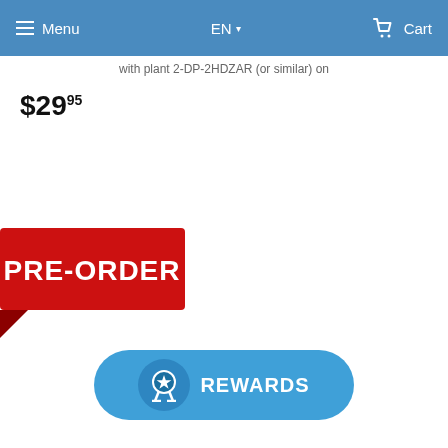Menu  EN  Cart
with plant 2-DP-2HDZAR (or similar) on
$29.95
[Figure (illustration): Red PRE-ORDER badge/banner with speech bubble tail pointing down-left, white bold text reading PRE-ORDER]
[Figure (illustration): Blue rounded pill-shaped REWARDS button with circular icon containing a star/badge emblem and white bold text REWARDS]